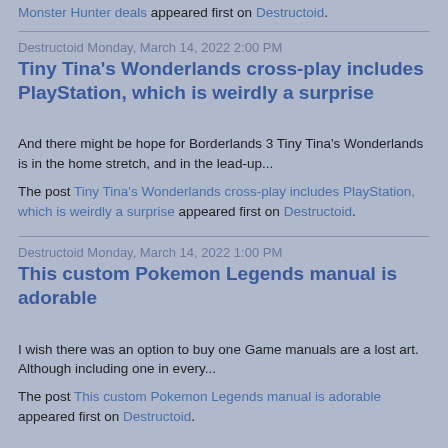Monster Hunter deals appeared first on Destructoid.
Destructoid Monday, March 14, 2022 2:00 PM
Tiny Tina's Wonderlands cross-play includes PlayStation, which is weirdly a surprise
And there might be hope for Borderlands 3 Tiny Tina's Wonderlands is in the home stretch, and in the lead-up...
The post Tiny Tina's Wonderlands cross-play includes PlayStation, which is weirdly a surprise appeared first on Destructoid.
Destructoid Monday, March 14, 2022 1:00 PM
This custom Pokemon Legends manual is adorable
I wish there was an option to buy one Game manuals are a lost art. Although including one in every...
The post This custom Pokemon Legends manual is adorable appeared first on Destructoid.